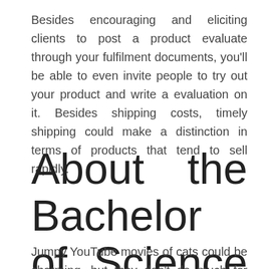Besides encouraging and eliciting clients to post a product evaluate through your fulfilment documents, you'll be able to even invite people to try out your product and write a evaluation on it. Besides shipping costs, timely shipping could make a distinction in terms of products that tend to sell rapidly.
About the Bachelor of Science in Business Program
Jumpy YouTube movies of cats could be charming, but they don't do much for business